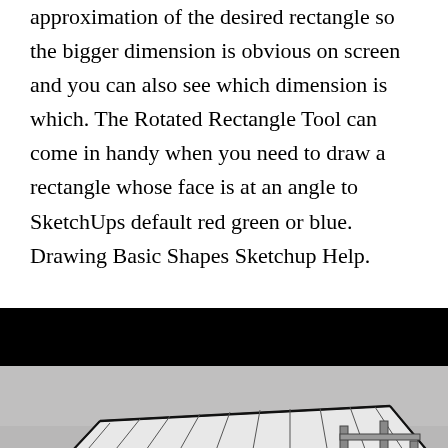approximation of the desired rectangle so the bigger dimension is obvious on screen and you can also see which dimension is which. The Rotated Rectangle Tool can come in handy when you need to draw a rectangle whose face is at an angle to SketchUps default red green or blue. Drawing Basic Shapes Sketchup Help.
[Figure (screenshot): A black header bar followed by a SketchUp 3D model showing a building structure with a roof frame, rendered in grayscale. A close button (X in circle) is visible on the image.]